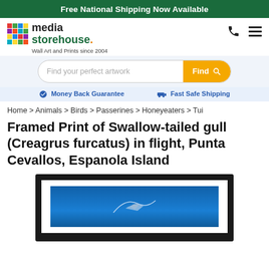Free National Shipping Now Available
[Figure (logo): Media Storehouse logo with colorful grid icon, text 'media storehouse.' and tagline 'Wall Art and Prints since 2004']
[Figure (other): Search bar with placeholder 'Find your perfect artwork' and yellow Find button with magnifying glass icon]
Money Back Guarantee   Fast Safe Shipping
Home > Animals > Birds > Passerines > Honeyeaters > Tui
Framed Print of Swallow-tailed gull (Creagrus furcatus) in flight, Punta Cevallos, Espanola Island
[Figure (photo): Framed print showing a swallow-tailed gull in flight against a blue sky background, displayed in a dark black frame with white mount]